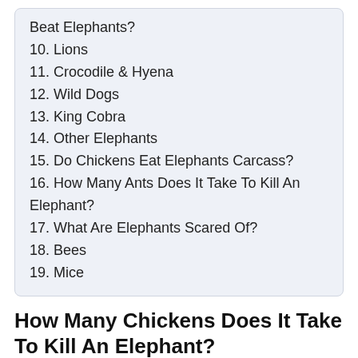Beat Elephants?
10. Lions
11. Crocodile & Hyena
12. Wild Dogs
13. King Cobra
14. Other Elephants
15. Do Chickens Eat Elephants Carcass?
16. How Many Ants Does It Take To Kill An Elephant?
17. What Are Elephants Scared Of?
18. Bees
19. Mice
How Many Chickens Does It Take To Kill An Elephant?